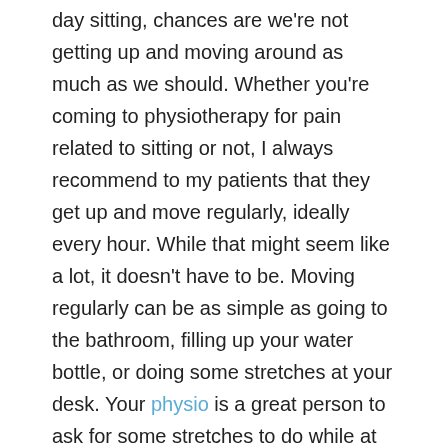day sitting, chances are we're not getting up and moving around as much as we should. Whether you're coming to physiotherapy for pain related to sitting or not, I always recommend to my patients that they get up and move regularly, ideally every hour. While that might seem like a lot, it doesn't have to be. Moving regularly can be as simple as going to the bathroom, filling up your water bottle, or doing some stretches at your desk. Your physio is a great person to ask for some stretches to do while at work.
Change Positions.
Along the same lines as the previous tip, while you are sitting, change positions periodically. You may have seen pictures of the “ideal sitting posture”; while this is a good start, no posture is ideal if that’s the only position you’re sitting in all day. So if you like to sit